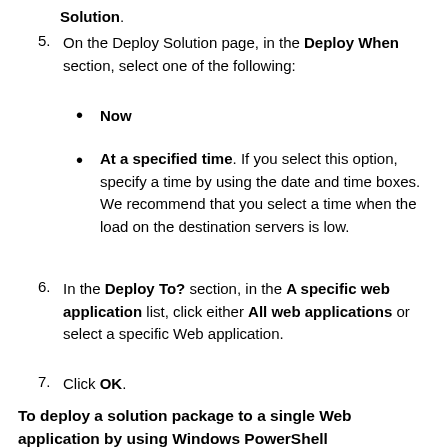Solution.
5. On the Deploy Solution page, in the Deploy When section, select one of the following:
Now
At a specified time. If you select this option, specify a time by using the date and time boxes. We recommend that you select a time when the load on the destination servers is low.
6. In the Deploy To? section, in the A specific web application list, click either All web applications or select a specific Web application.
7. Click OK.
To deploy a solution package to a single Web application by using Windows PowerShell